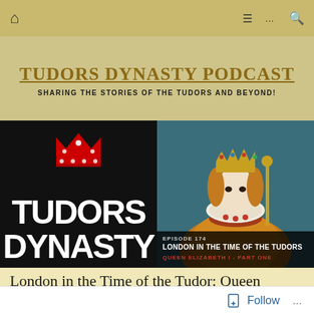[Figure (screenshot): Navigation bar with home icon on left and hamburger menu, ellipsis, and search icons on right, on a golden/tan background]
TUDORS DYNASTY PODCAST
SHARING THE STORIES OF THE TUDORS AND BEYOND!
[Figure (photo): Composite podcast cover image. Left half: black background with red crown icon above large white bold text reading TUDORS DYNASTY. Right half: portrait painting of Queen Elizabeth I in royal regalia with crown, scepter, and ruff collar. Overlay text at bottom right reads: EPISODE 174 / LONDON IN THE TIME OF THE TUDORS / QUEEN ELIZABETH I - PART ONE]
London in the Time of the Tudor: Queen
[Figure (screenshot): Follow button with bookmark-plus icon on white bar at bottom right]